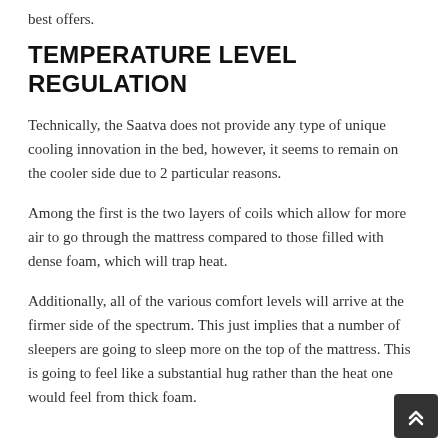best offers.
TEMPERATURE LEVEL REGULATION
Technically, the Saatva does not provide any type of unique cooling innovation in the bed, however, it seems to remain on the cooler side due to 2 particular reasons.
Among the first is the two layers of coils which allow for more air to go through the mattress compared to those filled with dense foam, which will trap heat.
Additionally, all of the various comfort levels will arrive at the firmer side of the spectrum. This just implies that a number of sleepers are going to sleep more on the top of the mattress. This is going to feel like a substantial hug rather than the heat one would feel from thick foam.